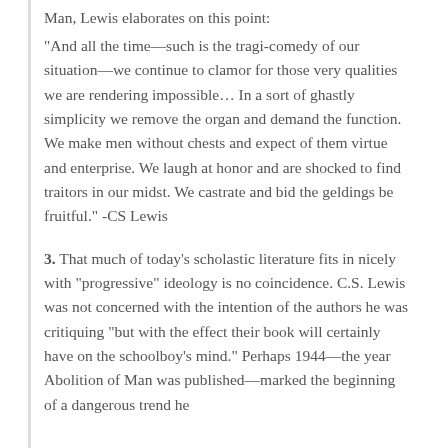Man, Lewis elaborates on this point:
“And all the time—such is the tragi-comedy of our situation—we continue to clamor for those very qualities we are rendering impossible… In a sort of ghastly simplicity we remove the organ and demand the function. We make men without chests and expect of them virtue and enterprise. We laugh at honor and are shocked to find traitors in our midst. We castrate and bid the geldings be fruitful.” -CS Lewis
3. That much of today’s scholastic literature fits in nicely with “progressive” ideology is no coincidence. C.S. Lewis was not concerned with the intention of the authors he was critiquing “but with the effect their book will certainly have on the schoolboy’s mind.” Perhaps 1944—the year Abolition of Man was published—marked the beginning of a dangerous trend he